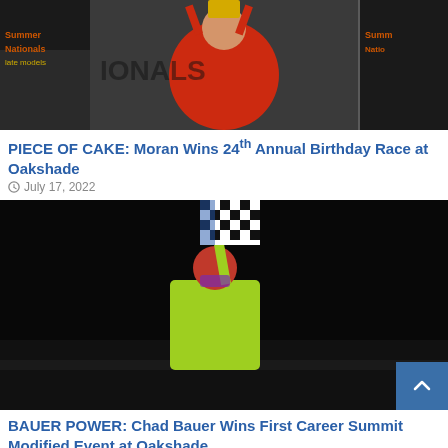[Figure (photo): Racing driver in red suit holding a trophy above his head at Summit Nationals event, with DIRTcar Summer Nationals backdrop]
PIECE OF CAKE: Moran Wins 24th Annual Birthday Race at Oakshade
July 17, 2022
[Figure (photo): Racing driver in yellow-green suit waving a checkered flag with blue and red design, celebrating win at night, dark background]
BAUER POWER: Chad Bauer Wins First Career Summit Modified Event at Oakshade